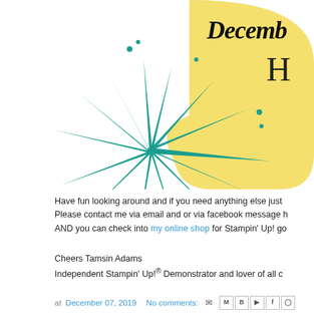[Figure (illustration): A teal/green starburst or firework illustration with radiating lines and dots, set against a yellow speech bubble shape in the upper right. Partially visible text 'Decemb' and 'H' in black serif font on the yellow background.]
Have fun looking around and if you need anything else just Please contact me via email and or via facebook message h AND you can check into my online shop for Stampin' Up! go
Cheers Tamsin Adams
Independent Stampin' Up!® Demonstrator and lover of all c
at December 07, 2019   No comments: